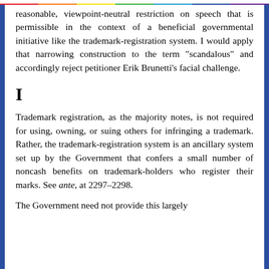reasonable, viewpoint-neutral restriction on speech that is permissible in the context of a beneficial governmental initiative like the trademark-registration system. I would apply that narrowing construction to the term "scandalous" and accordingly reject petitioner Erik Brunetti's facial challenge.
I
Trademark registration, as the majority notes, is not required for using, owning, or suing others for infringing a trademark. Rather, the trademark-registration system is an ancillary system set up by the Government that confers a small number of noncash benefits on trademark-holders who register their marks. See ante, at 2297-2298.
The Government need not provide this largely